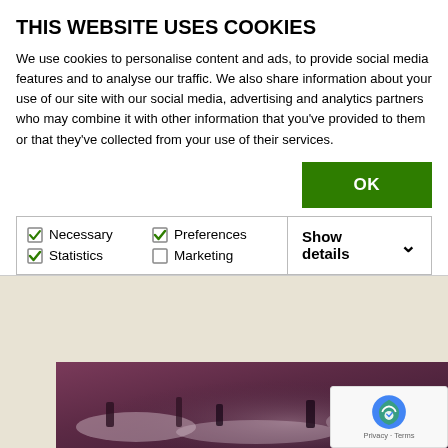THIS WEBSITE USES COOKIES
We use cookies to personalise content and ads, to provide social media features and to analyse our traffic. We also share information about your use of our site with our social media, advertising and analytics partners who may combine it with other information that you've provided to them or that they've collected from your use of their services.
OK
Necessary  Preferences  Statistics  Marketing  Show details
[Figure (photo): Aerial or elevated view of a snowy mountain ski slope with purple/pink lighting]
February 9 @ 10:00 am - 2:00 pm
HISTORIC SKI WITH THE LAND TRUST
Free
WED 9
[Figure (photo): Person drawing or painting at a table, wearing blue clothing and a bracelet]
[Figure (other): reCAPTCHA widget with Google logo and Privacy · Terms text]